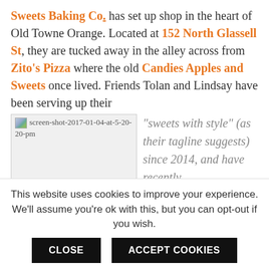Sweets Baking Co. has set up shop in the heart of Old Towne Orange. Located at 152 North Glassell St, they are tucked away in the alley across from Zito's Pizza where the old Candies Apples and Sweets once lived. Friends Tolan and Lindsay have been serving up their
[Figure (photo): Broken/missing image placeholder labeled 'screen-shot-2017-01-04-at-5-20-20-pm']
“sweets with style” (as their tagline suggests) since 2014, and have recently
This website uses cookies to improve your experience. We’ll assume you’re ok with this, but you can opt-out if you wish.
CLOSE   ACCEPT COOKIES